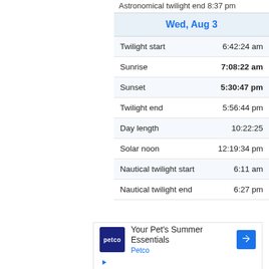Astronomical twilight end 8:37 pm
Wed, Aug 3
|  |  |
| --- | --- |
| Twilight start | 6:42:24 am |
| Sunrise | 7:08:22 am |
| Sunset | 5:30:47 pm |
| Twilight end | 5:56:44 pm |
| Day length | 10:22:25 |
| Solar noon | 12:19:34 pm |
| Nautical twilight start | 6:11 am |
| Nautical twilight end | 6:27 pm |
[Figure (other): Petco advertisement: Your Pet's Summer Essentials, Petco brand logo, blue navigation arrow icon]